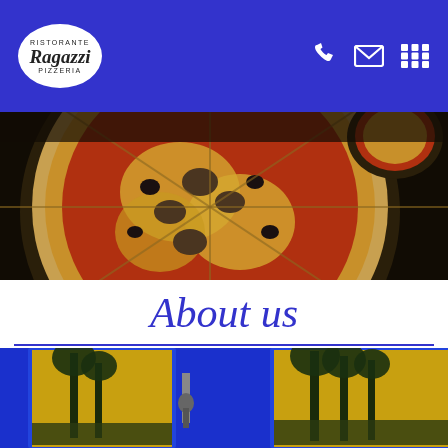Ragazzi Ristorante Pizzeria
[Figure (photo): Dark overhead photo of a pizza with toppings including mushrooms and olives on a round plate, additional dishes visible in the background]
About us
[Figure (photo): Interior of the restaurant showing cobalt blue walls decorated with two large paintings of palm trees on a golden/yellow background, with decorative wall sconces between and beside the paintings]